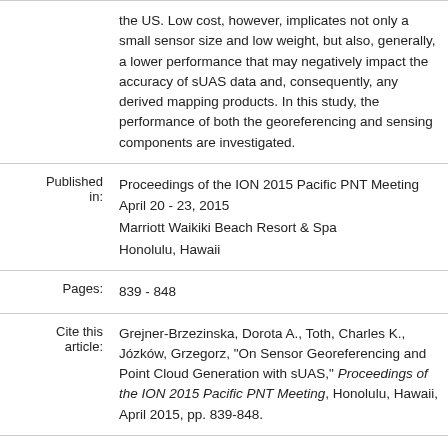the US. Low cost, however, implicates not only a small sensor size and low weight, but also, generally, a lower performance that may negatively impact the accuracy of sUAS data and, consequently, any derived mapping products. In this study, the performance of both the georeferencing and sensing components are investigated.
| Published in: | Proceedings of the ION 2015 Pacific PNT Meeting
April 20 - 23, 2015
Marriott Waikiki Beach Resort & Spa
Honolulu, Hawaii |
| Pages: | 839 - 848 |
| Cite this article: | Grejner-Brzezinska, Dorota A., Toth, Charles K., Józków, Grzegorz, "On Sensor Georeferencing and Point Cloud Generation with sUAS," Proceedings of the ION 2015 Pacific PNT Meeting, Honolulu, Hawaii, April 2015, pp. 839-848. |
| Full Paper: | ION Members/Non-Members: 1 Download Credit
Sign In |